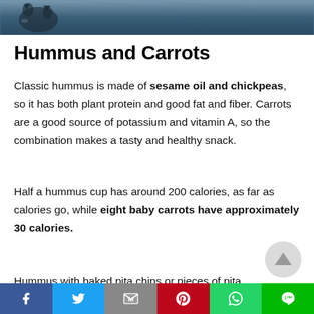[Figure (photo): Top portion of an image showing a cat and a dark blue textured background]
Hummus and Carrots
Classic hummus is made of sesame oil and chickpeas, so it has both plant protein and good fat and fiber. Carrots are a good source of potassium and vitamin A, so the combination makes a tasty and healthy snack.
Half a hummus cup has around 200 calories, as far as calories go, while eight baby carrots have approximately 30 calories.
Hummus with baked pita chips or pieces of pita
[Figure (other): Scroll-to-top button (grey circle with upward triangle)]
Social share bar: Facebook, Twitter, Gmail/Mail, Pinterest, WhatsApp, Line